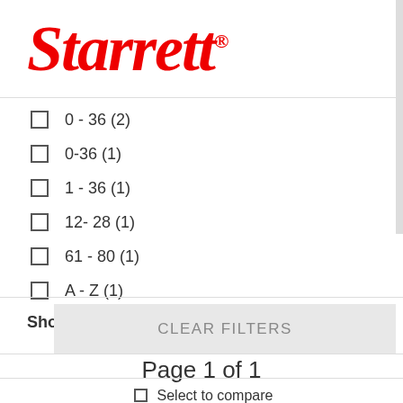[Figure (logo): Starrett brand logo in red italic serif font with registered trademark symbol]
0 - 36 (2)
0-36 (1)
1 - 36 (1)
12- 28 (1)
61 - 80 (1)
A - Z (1)
Show more »
CLEAR FILTERS
Page 1 of 1
Select to compare